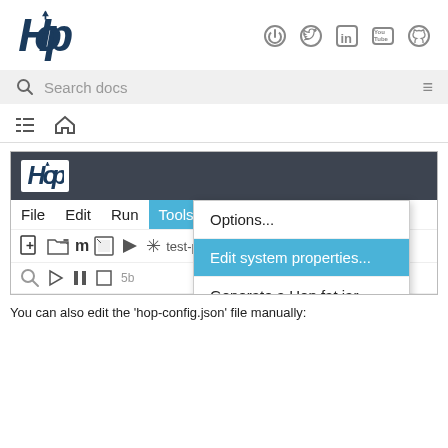[Figure (screenshot): Website header with Hop logo on left and social media icons (a power/circle icon, Twitter, LinkedIn, YouTube, GitHub) on the right]
[Figure (screenshot): Search bar with magnifying glass icon and 'Search docs' placeholder text, hamburger menu icon on right]
[Figure (screenshot): Navigation row with list/breadcrumb icon and home icon]
[Figure (screenshot): Screenshot of Hop GUI application showing dark title bar with Hop logo, menu bar with File, Edit, Run, Tools (highlighted in blue), toolbar icons, a tab bar showing test-pi, and a dropdown menu from Tools with Options..., Edit system properties... (highlighted in blue), and Generate a Hop fat jar...]
You can also edit the 'hop-config.json' file manually: